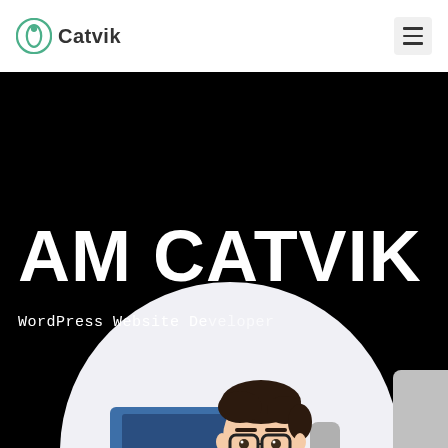Catvik
AM CATVIK
WordPress Website Developer
[Figure (illustration): Cartoon illustration of a young man with dark hair, glasses, and blue clothing sitting at a computer monitor, with a large white circle behind him on a black background. A gray shape is partially visible on the right edge.]